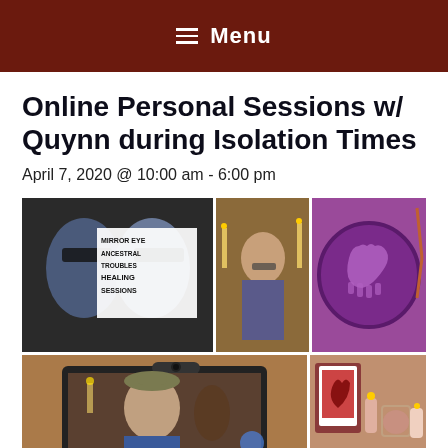≡ Menu
Online Personal Sessions w/ Quynn during Isolation Times
April 7, 2020 @ 10:00 am - 6:00 pm
[Figure (photo): Collage of six photos related to healing sessions: mirror eye ancestral troubles healing sessions graphic, portrait of a woman with candles, purple drum with hand print, person on video call on tablet, oracle cards and candles, and a dark disc with symbol.]